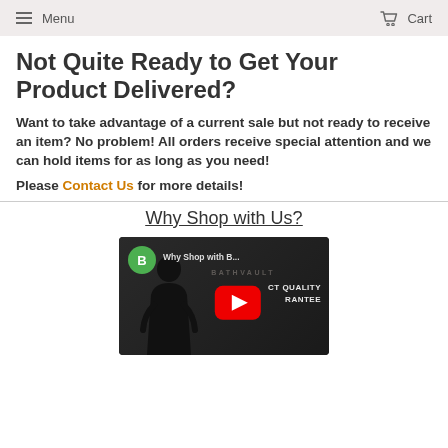Menu  Cart
Not Quite Ready to Get Your Product Delivered?
Want to take advantage of a current sale but not ready to receive an item? No problem! All orders receive special attention and we can hold items for as long as you need!
Please Contact Us for more details!
Why Shop with Us?
[Figure (screenshot): YouTube video thumbnail for 'Why Shop with B...' showing a woman in black, green B badge, red play button, BathVault branding]